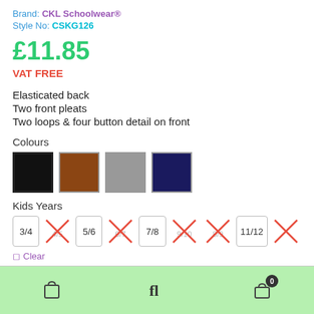Brand: CKL Schoolwear®
Style No: CSKG126
£11.85
VAT FREE
Elasticated back
Two front pleats
Two loops & four button detail on front
Colours
[Figure (other): Four colour swatches: black (selected), brown, grey, navy]
Kids Years
Size options: 3/4 (available), 4/5 (unavailable, crossed), 5/6 (available), 6/7 (unavailable, crossed), 7/8 (available), 9/10 (unavailable, crossed), 8/9 (unavailable, crossed), 11/12 (available), last (unavailable, crossed)
Clear
Footer bar with icons and cart badge showing 0